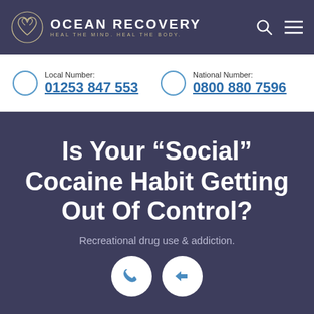OCEAN RECOVERY — HEAL THE MIND. HEAL THE BODY.
Local Number: 01253 847 553
National Number: 0800 880 7596
Is Your “Social” Cocaine Habit Getting Out Of Control?
Recreational drug use & addiction.